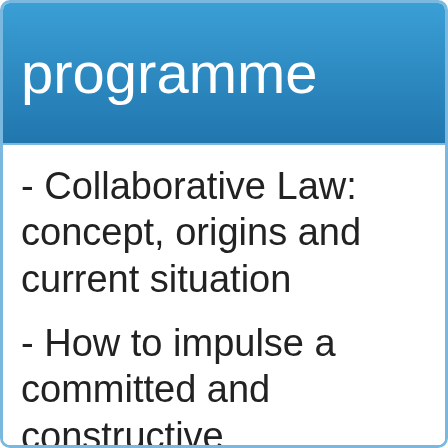programme
- Collaborative Law: concept, origins and current situation
- How to impulse a committed and constructive